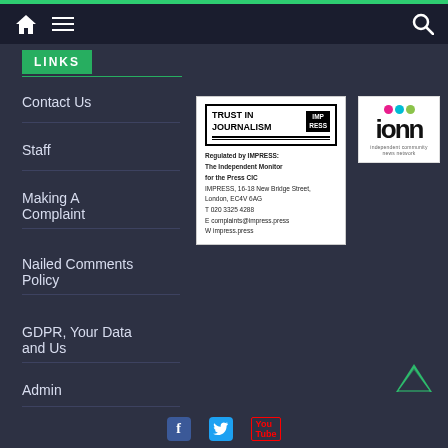Navigation bar with home, menu, and search icons
LINKS
Contact Us
Staff
Making A Complaint
Nailed Comments Policy
GDPR, Your Data and Us
Admin
Nailed Email
[Figure (logo): IMPRESS Trust in Journalism badge. Regulated by IMPRESS: The Independent Monitor for the Press CIC. IMPRESS, 16-18 New Bridge Street, London, EC4V 6AG. T 020 3325 4288. E complaints@impress.press. W impress.press]
[Figure (logo): ICNN Independent Community News Network logo with coloured dots above the letters icnn]
[Figure (other): Scroll-up chevron arrow icon in teal/green]
Social media icons: Facebook, Twitter, YouTube